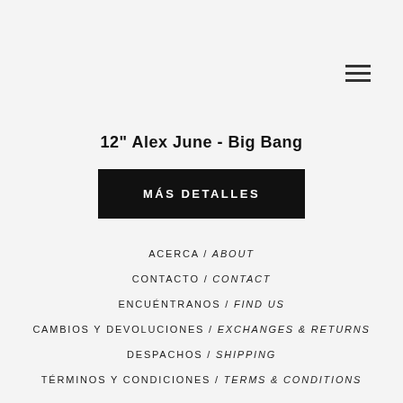[Figure (other): Hamburger menu icon (three horizontal lines) in top right corner]
12" Alex June - Big Bang
MÁS DETALLES
ACERCA / ABOUT
CONTACTO / CONTACT
ENCUÉNTRANOS / FIND US
CAMBIOS Y DEVOLUCIONES / EXCHANGES & RETURNS
DESPACHOS / SHIPPING
TÉRMINOS Y CONDICIONES / TERMS & CONDITIONS